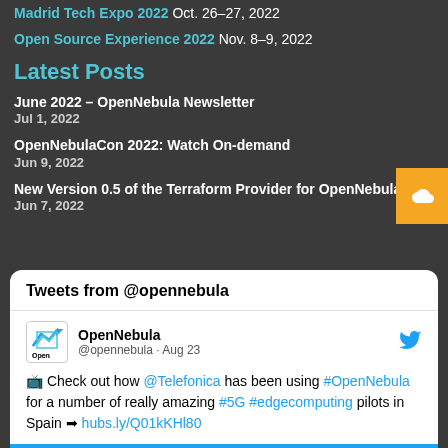Madrid Tech Expo 2022 Oct. 26–27, 2022
Open Source Experience 2022 Nov. 8–9, 2022
Latest Posts
June 2022 – OpenNebula Newsletter
Jul 1, 2022
OpenNebulaCon 2022: Watch On-demand
Jun 9, 2022
New Version 0.5 of the Terraform Provider for OpenNebula
Jun 7, 2022
[Figure (screenshot): Twitter widget showing tweets from @opennebula. Tweet from OpenNebula (@opennebula · Aug 23): '📺 Check out how @Telefonica has been using #OpenNebula for a number of really amazing #5G #edgecomputing pilots in Spain ➡ hubs.ly/Q01kKHl80']